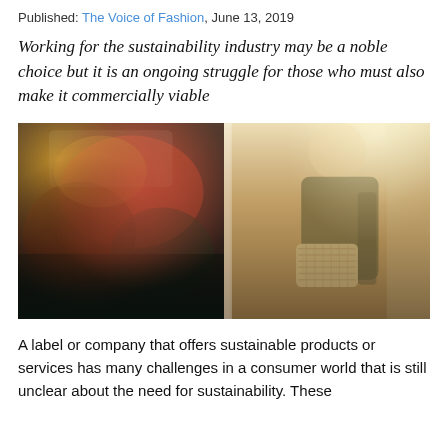Published: The Voice of Fashion, June 13, 2019
Working for the sustainability industry may be a noble choice but it is an ongoing struggle for those who must also make it commercially viable
[Figure (photo): Two side-by-side photos: left shows a pile of colorful crumpled fabrics or textiles in dark tones (red, yellow, blue, black); right shows a person from behind wearing dark wide-leg trousers with a bow/tie at the waist and carrying a woven/raffia crossbody bag, standing near a bright window.]
A label or company that offers sustainable products or services has many challenges in a consumer world that is still unclear about the need for sustainability. These